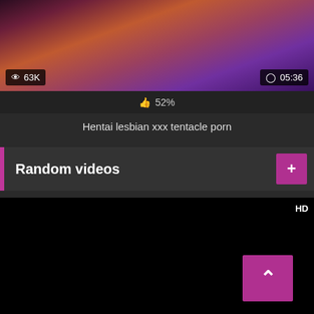[Figure (screenshot): Video thumbnail showing animated content with view count 63K and duration 05:36]
52%
Hentai lesbian xxx tentacle porn
Random videos
[Figure (screenshot): Black video thumbnail with HD badge in top right and scroll-to-top button]